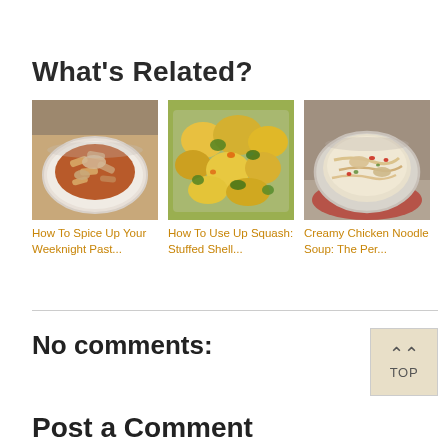What's Related?
[Figure (photo): Bowl of penne pasta with chicken in tomato sauce]
How To Spice Up Your Weeknight Past...
[Figure (photo): Stuffed shells with broccoli and cheese casserole]
How To Use Up Squash: Stuffed Shell...
[Figure (photo): Bowl of creamy chicken noodle soup]
Creamy Chicken Noodle Soup: The Per...
No comments:
Post a Comment